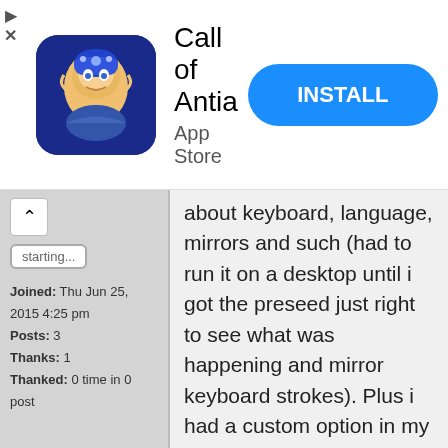[Figure (screenshot): Ad banner for 'Call of Antia' mobile game on App Store with INSTALL button]
Joined: Thu Jun 25, 2015 4:25 pm
Posts: 3
Thanks: 1
Thanked: 0 time in 0 post
about keyboard, language, mirrors and such (had to run it on a desktop until i got the preseed just right to see what was happening and mirror keyboard strokes). Plus i had a custom option in my dhcp server that caused the MTFPT to wait for 10 minutes before going with PXE boot, boot i finally managed to get it running, with several reinstalls since i root was disabled on ssh login and there is a bug regarding samba and pam on 14.04 so user account doesn't sudo . Now i just need to get some drives for it and maybe even do the CPU upgrade. BTW which FAN mod are you referring to in your post, there are a few mentioned out the